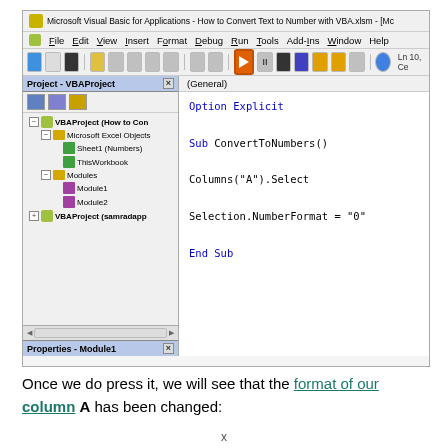[Figure (screenshot): Microsoft Visual Basic for Applications IDE screenshot showing VBA code: Option Explicit, Sub ConvertToNumbers(), Columns("A").Select, Selection.NumberFormat = "0", End Sub. Left panel shows Project - VBAProject tree with VBAProject (How to Con...), Microsoft Excel Objects, Sheet1 (Numbers), ThisWorkbook, Modules, Module1, Module2, VBAProject (samradapp...). Properties - Module1 panel at bottom left.]
Once we do press it, we will see that the format of our column A has been changed: